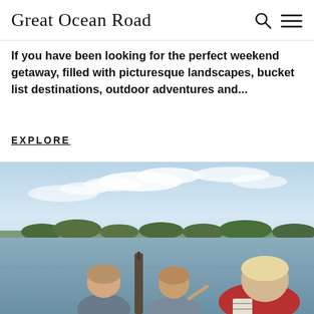Great Ocean Road
If you have been looking for the perfect weekend getaway, filled with picturesque landscapes, bucket list destinations, outdoor adventures and...
EXPLORE
[Figure (photo): Three children (two younger, one older/adult with red vest) viewed from behind, looking out over a calm lake or estuary with trees and a clear blue sky with clouds in the background.]